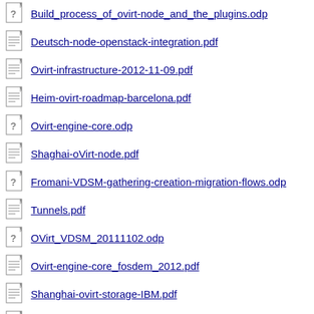Build_process_of_ovirt-node_and_the_plugins.odp
Deutsch-node-openstack-integration.pdf
Ovirt-infrastructure-2012-11-09.pdf
Heim-ovirt-roadmap-barcelona.pdf
Ovirt-engine-core.odp
Shaghai-oVirt-node.pdf
Fromani-VDSM-gathering-creation-migration-flows.odp
Tunnels.pdf
OVirt_VDSM_20111102.odp
Ovirt-engine-core_fosdem_2012.pdf
Shanghai-ovirt-storage-IBM.pdf
Ovirt_Node_Architecture.odp